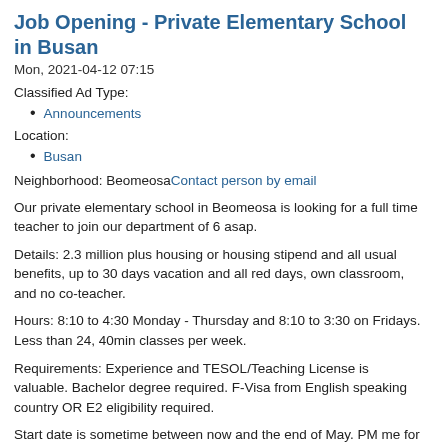Job Opening - Private Elementary School in Busan
Mon, 2021-04-12 07:15
Classified Ad Type:
Announcements
Location:
Busan
Neighborhood: BeomeosaContact person by email
Our private elementary school in Beomeosa is looking for a full time teacher to join our department of 6 asap.
Details: 2.3 million plus housing or housing stipend and all usual benefits, up to 30 days vacation and all red days, own classroom, and no co-teacher.
Hours: 8:10 to 4:30 Monday - Thursday and 8:10 to 3:30 on Fridays. Less than 24, 40min classes per week.
Requirements: Experience and TESOL/Teaching License is valuable. Bachelor degree required. F-Visa from English speaking country OR E2 eligibility required.
Start date is sometime between now and the end of May. PM me for details.